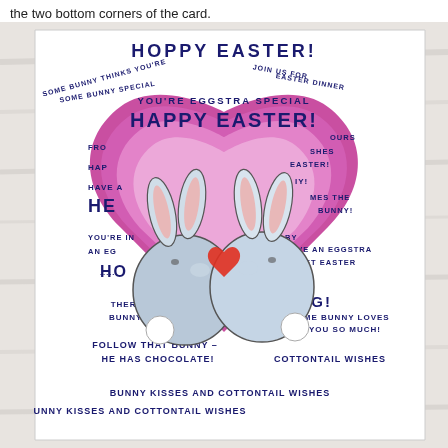the two bottom corners of the card.
[Figure (photo): A handmade Easter card featuring a large watercolor heart in shades of pink, magenta and purple, with text stamps reading 'HOPPY EASTER!', 'HAPPY EASTER!', 'YOU'RE EGGSTRA SPECIAL', 'EASTER IS COMING!', 'SOME BUNNY LOVES YOU SO MUCH!', 'FOLLOW THAT BUNNY - HE HAS CHOCOLATE!', 'BUNNY KISSES AND COTTONTAIL WISHES' and many other Easter phrases. Two cute cartoon bunnies shown from behind (blue-grey color) are placed in the center of the heart, touching heads with a small red heart between them.]